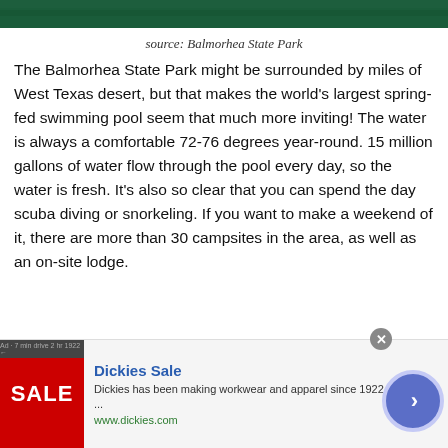[Figure (photo): Top portion of a photo showing Balmorhea State Park pool with green water]
source: Balmorhea State Park
The Balmorhea State Park might be surrounded by miles of West Texas desert, but that makes the world's largest spring-fed swimming pool seem that much more inviting! The water is always a comfortable 72-76 degrees year-round. 15 million gallons of water flow through the pool every day, so the water is fresh. It's also so clear that you can spend the day scuba diving or snorkeling. If you want to make a weekend of it, there are more than 30 campsites in the area, as well as an on-site lodge.
Where: 9207 TX-17, Toyahvale, TX 79786
Distance from Austin: ~ 6 hrs. & 2 mins.
[Figure (photo): We believe advertisement banner with dark background]
[Figure (photo): Dickies Sale advertisement banner]